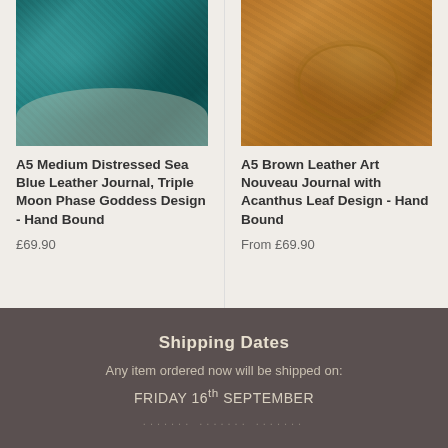[Figure (photo): Teal/sea blue distressed leather journal, close-up photo showing textured surface]
A5 Medium Distressed Sea Blue Leather Journal, Triple Moon Phase Goddess Design - Hand Bound
£69.90
[Figure (photo): Brown leather journal with Art Nouveau Acanthus leaf embossed design, close-up photo]
A5 Brown Leather Art Nouveau Journal with Acanthus Leaf Design - Hand Bound
From £69.90
Shipping Dates
Any item ordered now will be shipped on:
FRIDAY 16th SEPTEMBER
....... ....... .......